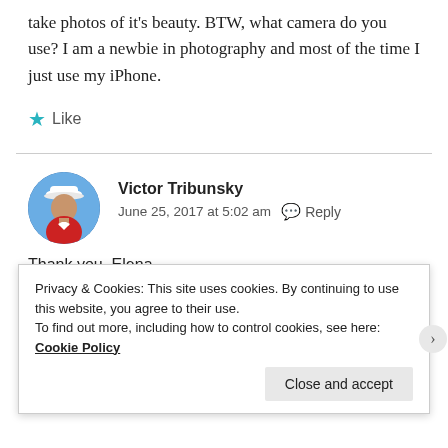take photos of it's beauty. BTW, what camera do you use? I am a newbie in photography and most of the time I just use my iPhone.
★ Like
Victor Tribunsky
June 25, 2017 at 5:02 am   Reply
Thank you, Elena.
I use simple (non-professional) camera, Sony 100 M2...
Privacy & Cookies: This site uses cookies. By continuing to use this website, you agree to their use.
To find out more, including how to control cookies, see here: Cookie Policy
Close and accept